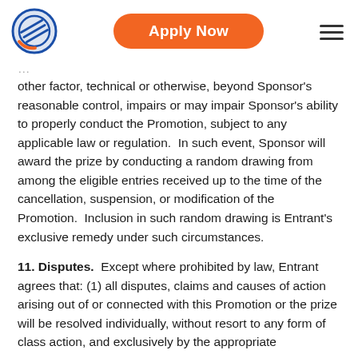Apply Now
other factor, technical or otherwise, beyond Sponsor’s reasonable control, impairs or may impair Sponsor’s ability to properly conduct the Promotion, subject to any applicable law or regulation.  In such event, Sponsor will award the prize by conducting a random drawing from among the eligible entries received up to the time of the cancellation, suspension, or modification of the Promotion.  Inclusion in such random drawing is Entrant’s exclusive remedy under such circumstances.
11. Disputes.  Except where prohibited by law, Entrant agrees that: (1) all disputes, claims and causes of action arising out of or connected with this Promotion or the prize will be resolved individually, without resort to any form of class action, and exclusively by the appropriate